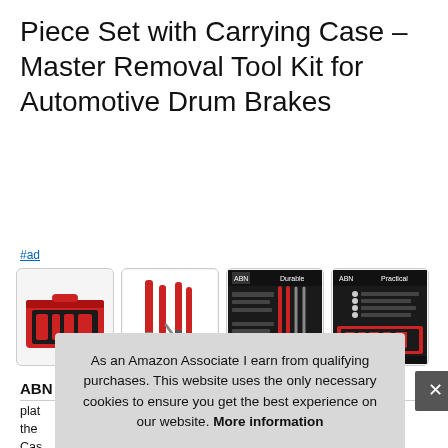Piece Set with Carrying Case – Master Removal Tool Kit for Automotive Drum Brakes
#ad
[Figure (photo): Four product thumbnail images showing automotive drum brake tool kit: red carrying case open, individual tools laid out, product feature infographic (Durable), product feature infographic (Practical)]
ABN
plat
the
Cas
to s
and American domestic vehicles.
As an Amazon Associate I earn from qualifying purchases. This website uses the only necessary cookies to ensure you get the best experience on our website. More information